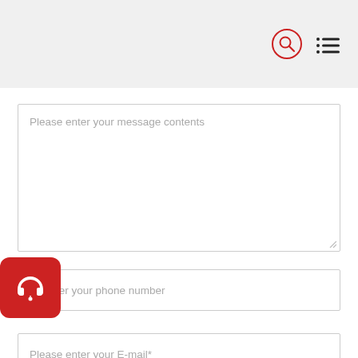[Figure (screenshot): Website header bar with search icon (magnifying glass in red circle) and menu icon (three lines with dots) on light gray background]
Please enter your message contents
Please enter your phone number
Please enter your E-mail*
Please enter the verification...
[Figure (illustration): Red rounded square button with white headset/support icon]